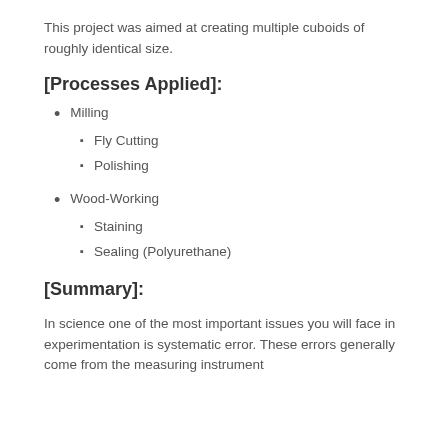This project was aimed at creating multiple cuboids of roughly identical size.
[Processes Applied]:
Milling
Fly Cutting
Polishing
Wood-Working
Staining
Sealing (Polyurethane)
[Summary]:
In science one of the most important issues you will face in experimentation is systematic error. These errors generally come from the measuring instrument